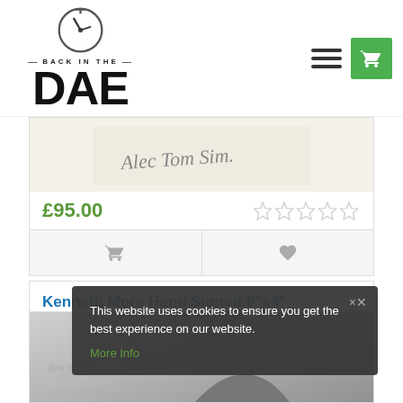[Figure (logo): Back In The Dae logo with clock/stopwatch icon above the text]
[Figure (photo): Handwritten signature on cream/beige paper background]
£95.00
Kenneth More Hand Signed 6"x4" Promotional Card
[Figure (photo): Black and white promotional photo of Kenneth More with his signature]
This website uses cookies to ensure you get the best experience on our website.
More Info